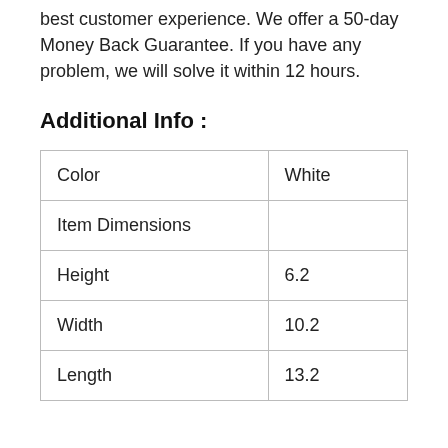best customer experience. We offer a 50-day Money Back Guarantee. If you have any problem, we will solve it within 12 hours.
Additional Info :
| Color | White |
| Item Dimensions |  |
| Height | 6.2 |
| Width | 10.2 |
| Length | 13.2 |